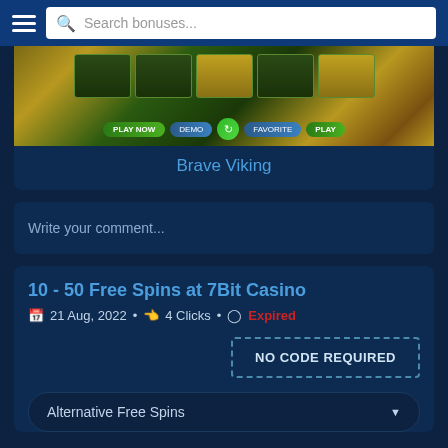Search bonuses...
[Figure (screenshot): Game screenshot of Brave Viking slot game with play/demo buttons]
Brave Viking
Write your comment...
10 - 50 Free Spins at 7Bit Casino
21 Aug, 2022  •  4 Clicks  •  Expired
NO CODE REQUIRED
Alternative Free Spins